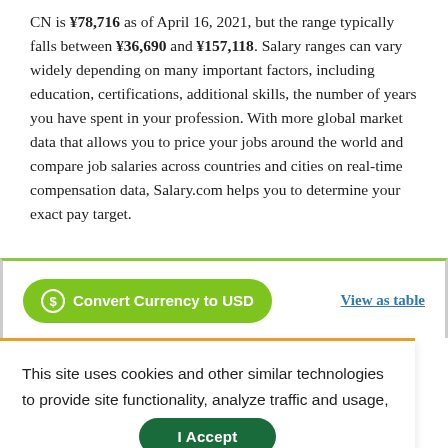CN is ¥78,716 as of April 16, 2021, but the range typically falls between ¥36,690 and ¥157,118. Salary ranges can vary widely depending on many important factors, including education, certifications, additional skills, the number of years you have spent in your profession. With more global market data that allows you to price your jobs around the world and compare job salaries across countries and cities on real-time compensation data, Salary.com helps you to determine your exact pay target.
[Figure (other): Interactive UI section with a green 'Convert Currency to USD' button on the left and a 'View as table' link on the right, inside a box with a green top border.]
This site uses cookies and other similar technologies to provide site functionality, analyze traffic and usage, and deliver content tailored to your interests. | Learn More
I Accept